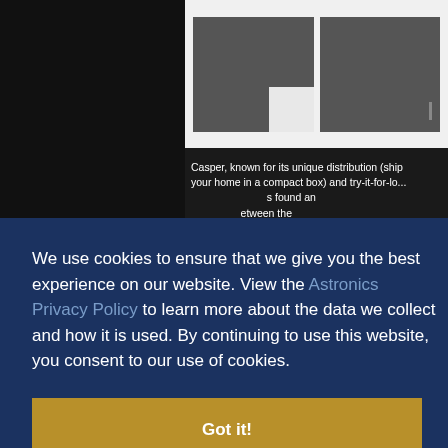[Figure (photo): Dark bedroom background on left side]
[Figure (photo): Two grey folded bedding/blanket product images on white background]
Casper, known for its unique distribution (ship your home in a compact box) and try-it-for-lo... found an ...between the ...sh compa...
[Figure (photo): Bedroom/furniture photo in bottom right]
We use cookies to ensure that we give you the best experience on our website. View the Astronics Privacy Policy to learn more about the data we collect and how it is used. By continuing to use this website, you consent to our use of cookies.
Got it!